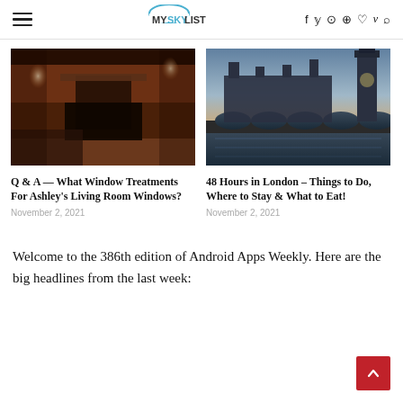MYSKYLIST
[Figure (photo): Interior room with fireplace and two windows, warm reddish-brown lighting]
[Figure (photo): London skyline with Westminster Bridge and Big Ben at dusk]
Q & A — What Window Treatments For Ashley's Living Room Windows?
November 2, 2021
48 Hours in London – Things to Do, Where to Stay & What to Eat!
November 2, 2021
Welcome to the 386th edition of Android Apps Weekly. Here are the big headlines from the last week: